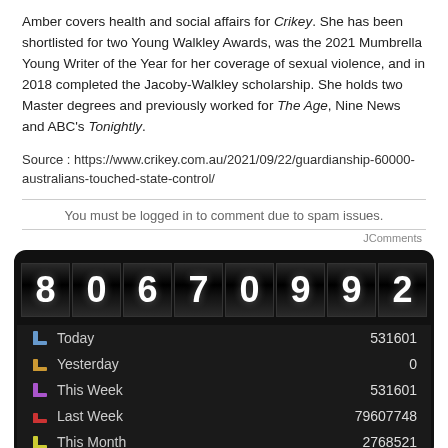Amber covers health and social affairs for Crikey. She has been shortlisted for two Young Walkley Awards, was the 2021 Mumbrella Young Writer of the Year for her coverage of sexual violence, and in 2018 completed the Jacoby-Walkley scholarship. She holds two Master degrees and previously worked for The Age, Nine News and ABC's Tonightly.
Source : https://www.crikey.com.au/2021/09/22/guardianship-60000-australians-touched-state-control/
You must be logged in to comment due to spam issues.
JComments
[Figure (other): Website visit counter widget showing a rolling digit counter displaying 80670992, with stats: Today 531601, Yesterday 0, This Week 531601, Last Week 79607748, This Month 2768521]